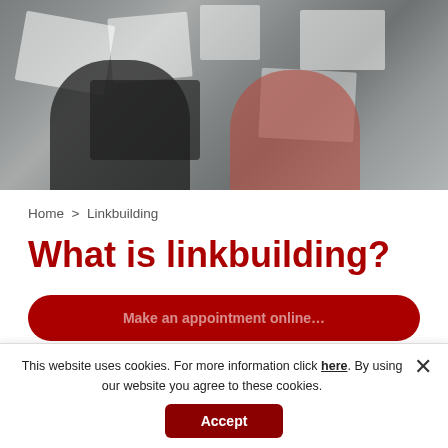[Figure (photo): Overhead view of two people (one in a wheelchair with braids, one in a red top with dark hair in a bun) sitting at a table covered with papers, charts, and marketing strategy documents, with a laptop visible.]
Home > Linkbuilding
What is linkbuilding?
Make an appointment online
This website uses cookies. For more information click here. By using our website you agree to these cookies.
Accept